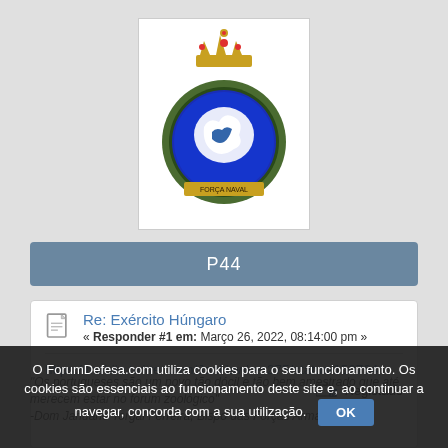[Figure (logo): Military/naval emblem with blue globe, laurel wreath, and crown, on white background]
P44
Re: Exército Húngaro
« Responder #1 em: Março 26, 2022, 08:14:00 pm »
https://mobile.twitter.com/JonHawkes275/status/150764…
Registado
"Os portugueses são um povo tão dócil e tão bem amestrado que até merecem estar no forum zoológico"
-Dom Januário Torgal Ferreira, Bispo das Forças Armadas
O ForumDefesa.com utiliza cookies para o seu funcionamento. Os cookies são essenciais ao funcionamento deste site e, ao continuar a navegar, concorda com a sua utilização.  OK